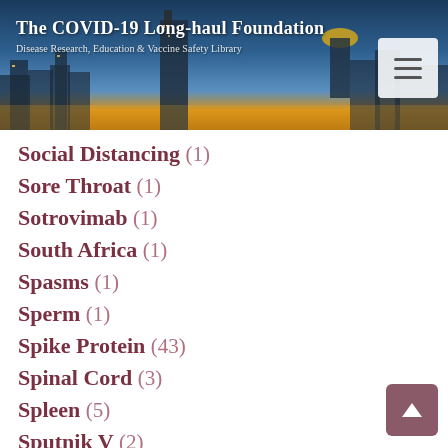The COVID-19 Long-haul Foundation – Disease Research, Education & Vaccine Safety Library
Social Distancing (1)
Sore Throat (1)
Sotrovimab (1)
South Africa (1)
Spasms (1)
Sperm (1)
Spike Protein (43)
Spinal Cord (3)
Spleen (5)
Sputnik V (2)